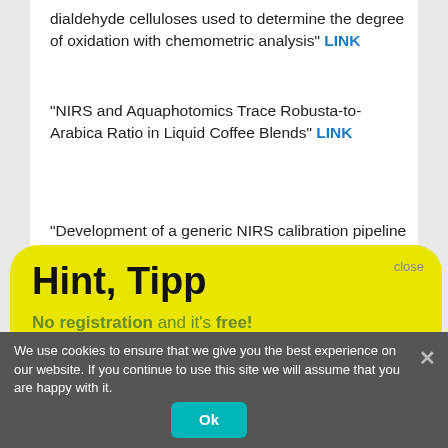dialdehyde celluloses used to determine the degree of oxidation with chemometric analysis" LINK
"NIRS and Aquaphotomics Trace Robusta-to-Arabica Ratio in Liquid Coffee Blends" LINK
"Development of a generic NIRS calibration pipeline
[Figure (screenshot): Yellow hint/tip popup overlay with text: 'Hint, Tipp', 'No registration and it's free!', 'There is a free NIR-Predictor Software.', '> > > Show me < < <', with a close button]
spectroscopy" LINK
"NIR spectroscopic methods for monitoring blend potency in a feed frame – calibration transfer between offline and inline using a continuum regression filter" LINK
We use cookies to ensure that we give you the best experience on our website. If you continue to use this site we will assume that you are happy with it.